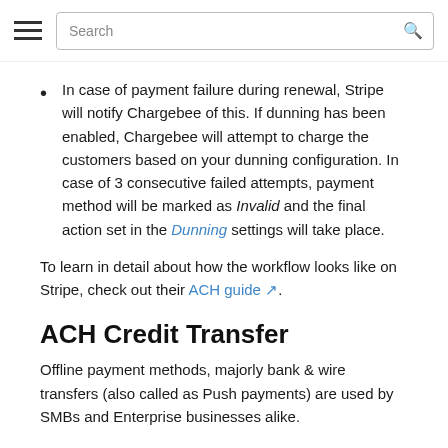Search
In case of payment failure during renewal, Stripe will notify Chargebee of this. If dunning has been enabled, Chargebee will attempt to charge the customers based on your dunning configuration. In case of 3 consecutive failed attempts, payment method will be marked as Invalid and the final action set in the Dunning settings will take place.
To learn in detail about how the workflow looks like on Stripe, check out their ACH guide.
ACH Credit Transfer
Offline payment methods, majorly bank & wire transfers (also called as Push payments) are used by SMBs and Enterprise businesses alike.